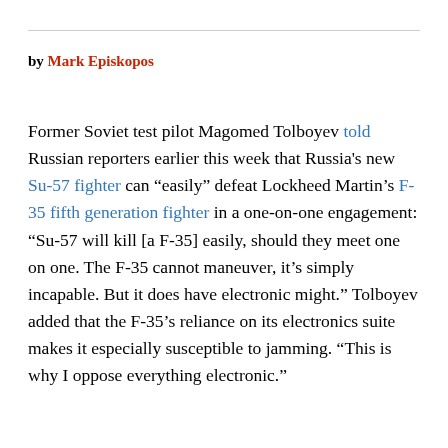by Mark Episkopos
Former Soviet test pilot Magomed Tolboyev told Russian reporters earlier this week that Russia's new Su-57 fighter can “easily” defeat Lockheed Martin’s F-35 fifth generation fighter in a one-on-one engagement: “Su-57 will kill [a F-35] easily, should they meet one on one. The F-35 cannot maneuver, it’s simply incapable. But it does have electronic might.” Tolboyev added that the F-35’s reliance on its electronics suite makes it especially susceptible to jamming. “This is why I oppose everything electronic.”